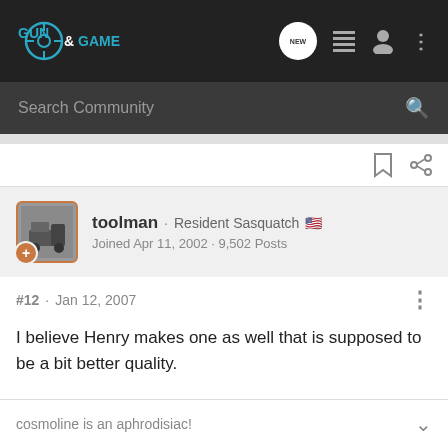Gun & Game
Search Community
toolman · Resident Sasquatch 🇺🇸
Joined Apr 11, 2002 · 9,502 Posts
#12 · Jan 12, 2007
I believe Henry makes one as well that is supposed to be a bit better quality.
cosmoline is an aphrodisiac!